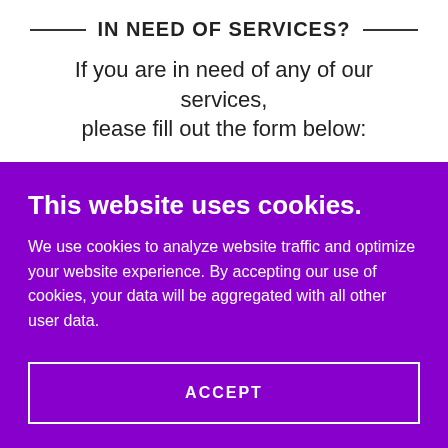IN NEED OF SERVICES?
If you are in need of any of our services, please fill out the form below:
Name
This website uses cookies.
We use cookies to analyze website traffic and optimize your website experience. By accepting our use of cookies, your data will be aggregated with all other user data.
ACCEPT